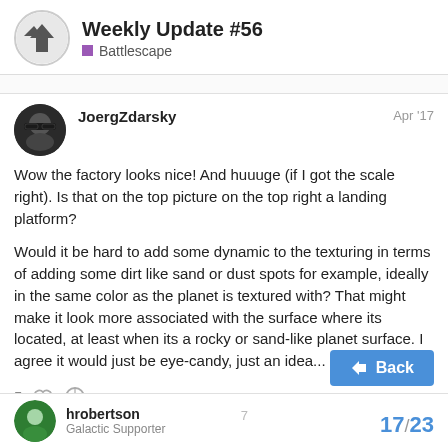Weekly Update #56 — Battlescape
JoergZdarsky — Apr '17
Wow the factory looks nice! And huuuge (if I got the scale right). Is that on the top picture on the top right a landing platform?

Would it be hard to add some dynamic to the texturing in terms of adding some dirt like sand or dust spots for example, ideally in the same color as the planet is textured with? That might make it look more associated with the surface where its located, at least when its a rocky or sand-like planet surface. I agree it would just be eye-candy, just an idea...
hrobertson — Galactic Supporter
17 / 23